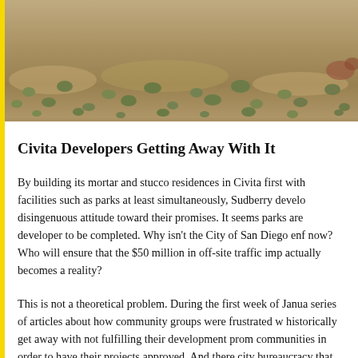[Figure (photo): Aerial or ground-level photograph of a dry, sandy landscape with sparse desert shrubs/vegetation. The terrain appears arid with scattered low-growing plants across sandy soil.]
Civita Developers Getting Away With It
By building its mortar and stucco residences in Civita first with facilities such as parks at least simultaneously, Sudberry developers disingenuous attitude toward their promises. It seems parks are developer to be completed. Why isn't the City of San Diego enf now? Who will ensure that the $50 million in off-site traffic imp actually becomes a reality?
This is not a theoretical problem. During the first week of Janua series of articles about how community groups were frustrated w historically get away with not fulfilling their development prom communities in order to have their projects approved. And there city bureaucracy that was responsible to ensure the pledges mee neighbor has set up institutional staff to track and hold develope